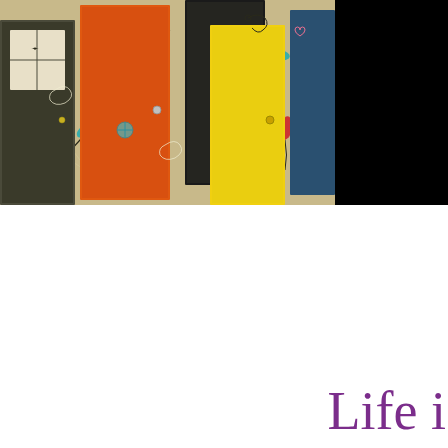[Figure (illustration): Colorful illustrated cover image showing multiple open doors of different colors (orange, yellow, dark gray, teal) surrounded by decorative floral vines, tulips, hearts, and leaves on a tan/beige background. A black rectangle occupies the upper right portion of the image area.]
Life i